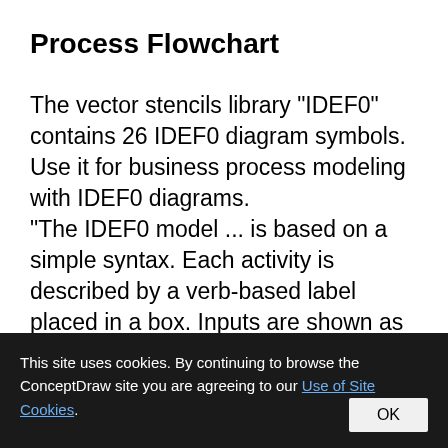Process Flowchart
The vector stencils library "IDEF0" contains 26 IDEF0 diagram symbols.
Use it for business process modeling with IDEF0 diagrams.
"The IDEF0 model ... is based on a simple syntax. Each activity is described by a verb-based label placed in a box. Inputs are shown as arrows entering the left side of
This site uses cookies. By continuing to browse the ConceptDraw site you are agreeing to our Use of Site Cookies. OK